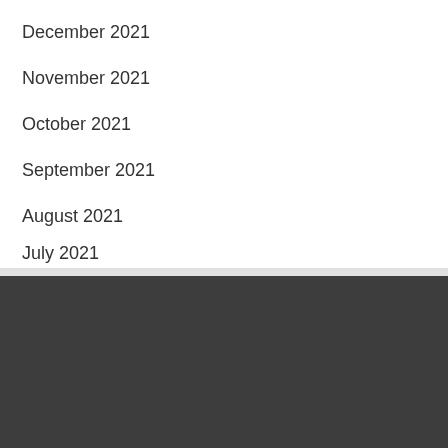December 2021
November 2021
October 2021
September 2021
August 2021
July 2021
Categories
MMA Fighting
MMA Junkie
MMA news